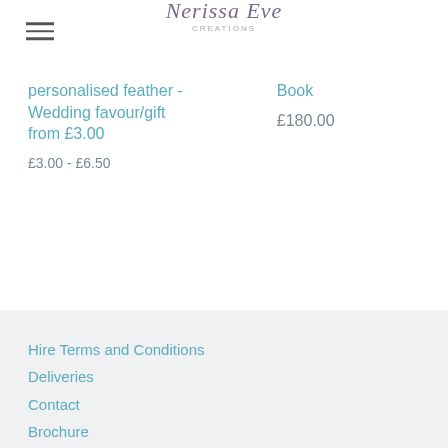Nerissa Eve
personalised feather - Wedding favour/gift from £3.00
£3.00 - £6.50
Book
£180.00
Hire Terms and Conditions
Deliveries
Contact
Brochure